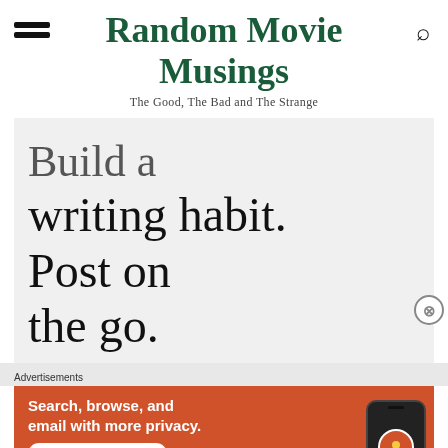Random Movie Musings
The Good, The Bad and The Strange
[Figure (screenshot): WordPress promotional banner with large serif text reading 'Build a writing habit. Post on the go.' on a light gray background]
Advertisements
[Figure (screenshot): DuckDuckGo advertisement on orange background: 'Search, browse, and email with more privacy. All in One Free App' with phone and DuckDuckGo logo]